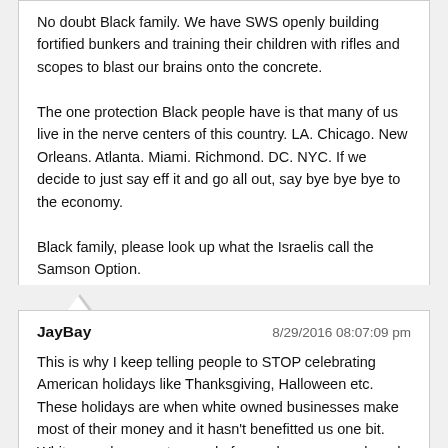No doubt Black family. We have SWS openly building fortified bunkers and training their children with rifles and scopes to blast our brains onto the concrete.

The one protection Black people have is that many of us live in the nerve centers of this country. LA. Chicago. New Orleans. Atlanta. Miami. Richmond. DC. NYC. If we decide to just say eff it and go all out, say bye bye bye to the economy.

Black family, please look up what the Israelis call the Samson Option.
REPLY
JayBay
8/29/2016 08:07:09 pm
This is why I keep telling people to STOP celebrating American holidays like Thanksgiving, Halloween etc. These holidays are when white owned businesses make most of their money and it hasn't benefitted us one bit. White people are not scared of you when you march and protest but to continue to worship everything they do. This is how you know who's really in this fight and who isn't. Going